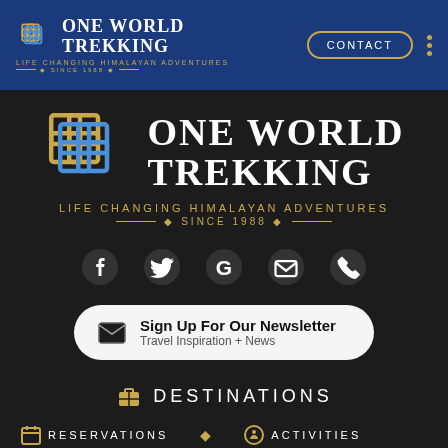[Figure (logo): One World Trekking logo in nav bar — small knot symbol with text One World Trekking, Life Changing Himalayan Adventures, Since 1988, on blue background with Contact button]
[Figure (logo): One World Trekking large logo on dark background — colorful knot symbol, large text One World Trekking, Life Changing Himalayan Adventures, Since 1988]
[Figure (infographic): Social media icons row: Facebook, Twitter, Google, Email, Phone — white icons on dark background]
Sign Up For Our Newsletter
Travel Inspiration + News
DESTINATIONS
RESERVATIONS  ACTIVITIES